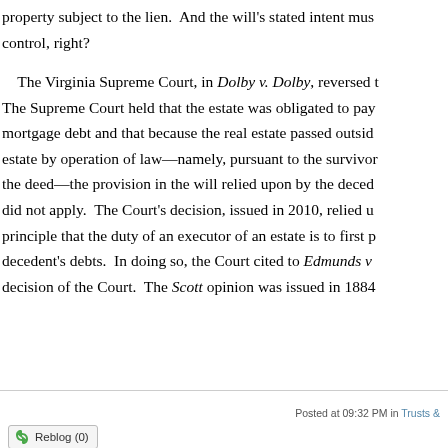property subject to the lien.  And the will's stated intent must control, right?

    The Virginia Supreme Court, in Dolby v. Dolby, reversed t The Supreme Court held that the estate was obligated to pay mortgage debt and that because the real estate passed outside estate by operation of law—namely, pursuant to the survivor the deed—the provision in the will relied upon by the deced did not apply.  The Court's decision, issued in 2010, relied u principle that the duty of an executor of an estate is to first p decedent's debts.  In doing so, the Court cited to Edmunds v decision of the Court.  The Scott opinion was issued in 1884
Posted at 09:32 PM in Trusts &
Reblog (0)